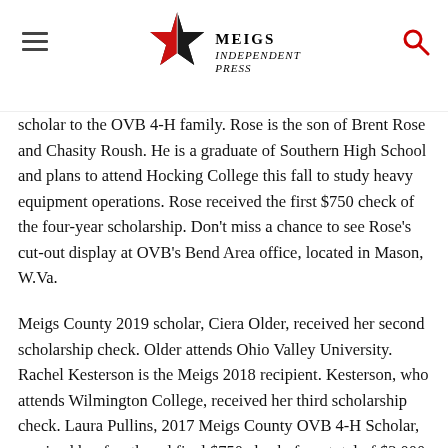Meigs Independent Press
scholar to the OVB 4-H family. Rose is the son of Brent Rose and Chasity Roush. He is a graduate of Southern High School and plans to attend Hocking College this fall to study heavy equipment operations. Rose received the first $750 check of the four-year scholarship. Don't miss a chance to see Rose's cut-out display at OVB's Bend Area office, located in Mason, W.Va.
Meigs County 2019 scholar, Ciera Older, received her second scholarship check. Older attends Ohio Valley University. Rachel Kesterson is the Meigs 2018 recipient. Kesterson, who attends Wilmington College, received her third scholarship check. Laura Pullins, 2017 Meigs County OVB 4-H Scholar, received her fourth and final $750 check, for a total of $3,000. Pullins attends Marietta College.
Olivia Harrison is Gallia's 2020 scholarship winner. She is the